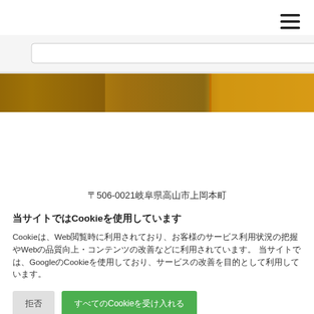[Figure (photo): Hero banner image with gold/brown tones showing an interior or architectural scene. A navigation hamburger menu icon appears in the top right.]
〒506-0021岐阜県高山市上岡本町
当サイトではCookieを使用しています
Cookieは、Web閲覧時に利用されており、お客様のサービス利用状況の把握やWebの品質向上・コンテンツの改善などに利用されています。 当サイトでは、GoogleのCookieを使用しており、サービスの改善を目的として利用しています。
拒否　　　すべてのCookieを受け入れる